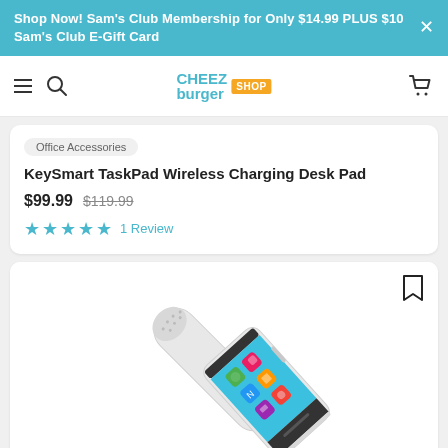Shop Now! Sam's Club Membership for Only $14.99 PLUS $10 Sam's Club E-Gift Card
Cheezburger Shop — navigation bar
Office Accessories
KeySmart TaskPad Wireless Charging Desk Pad
$99.99  $119.99  ★★★★★  1 Review
[Figure (photo): White handheld device (language translator or scanner pen) shown alongside a white smartphone-like device with a blue touchscreen displaying colorful app icons.]